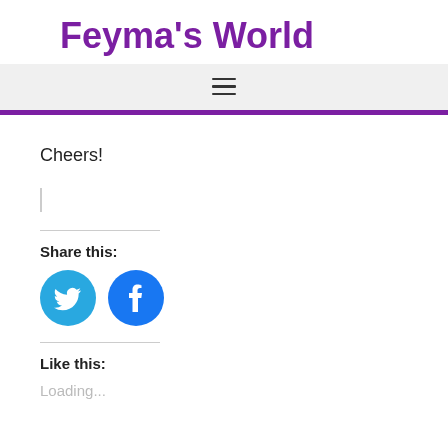Feyma's World
Cheers!
Share this:
[Figure (illustration): Twitter bird icon (blue circle with white Twitter bird) and Facebook icon (blue circle with white 'f' logo)]
Like this:
Loading...